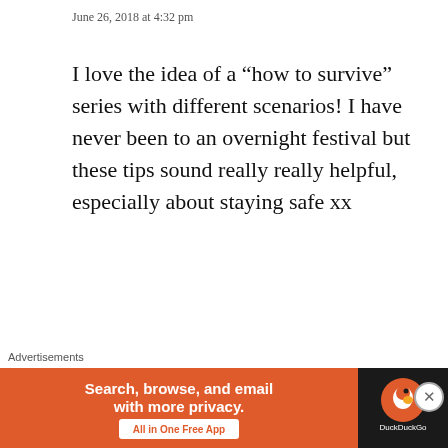June 26, 2018 at 4:32 pm
I love the idea of a “how to survive” series with different scenarios! I have never been to an overnight festival but these tips sound really really helpful, especially about staying safe xx
Liked by 1 person
Reply
Kelsey Marie
[Figure (other): DuckDuckGo advertisement banner: Search, browse, and email with more privacy. All in One Free App]
Advertisements